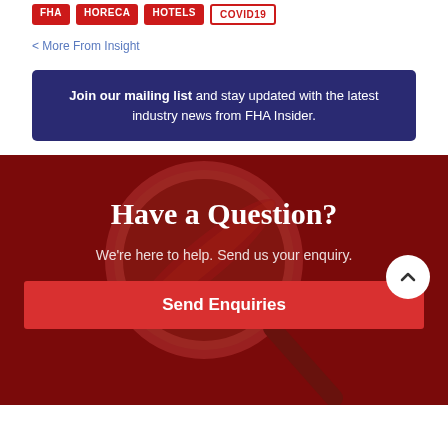FHA | HORECA | HOTELS | COVID19
< More From Insight
Join our mailing list and stay updated with the latest industry news from FHA Insider.
Have a Question?
We're here to help. Send us your enquiry.
Send Enquiries